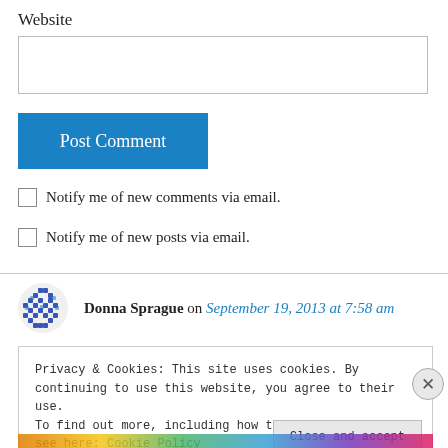Website
Post Comment
Notify me of new comments via email.
Notify me of new posts via email.
Donna Sprague on September 19, 2013 at 7:58 am
Privacy & Cookies: This site uses cookies. By continuing to use this website, you agree to their use.
To find out more, including how to control cookies, see here: Cookie Policy
Close and accept